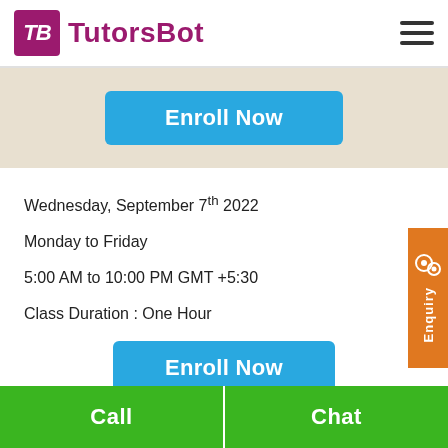[Figure (logo): TutorsBot logo with purple TB icon and purple text]
[Figure (other): Hamburger menu icon (three horizontal lines)]
[Figure (other): Enroll Now button (blue) in beige banner]
Wednesday, September 7th 2022
Monday to Friday
5:00 AM to 10:00 PM GMT +5:30
Class Duration : One Hour
[Figure (other): Enroll Now button (blue)]
[Figure (other): Enquiry sidebar button (orange)]
Call | Chat